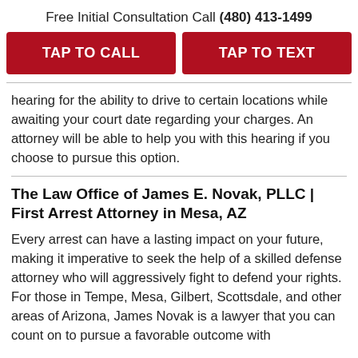Free Initial Consultation Call (480) 413-1499
TAP TO CALL
TAP TO TEXT
hearing for the ability to drive to certain locations while awaiting your court date regarding your charges. An attorney will be able to help you with this hearing if you choose to pursue this option.
The Law Office of James E. Novak, PLLC | First Arrest Attorney in Mesa, AZ
Every arrest can have a lasting impact on your future, making it imperative to seek the help of a skilled defense attorney who will aggressively fight to defend your rights. For those in Tempe, Mesa, Gilbert, Scottsdale, and other areas of Arizona, James Novak is a lawyer that you can count on to pursue a favorable outcome with